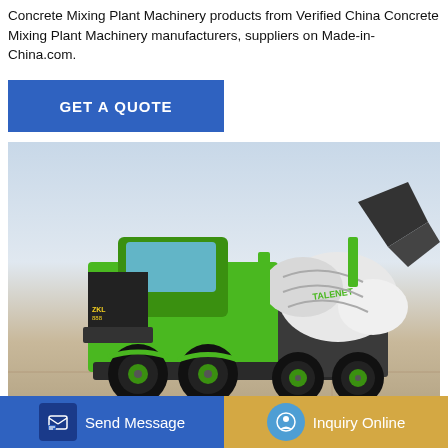Concrete Mixing Plant Machinery products from Verified China Concrete Mixing Plant Machinery manufacturers, suppliers on Made-in-China.com.
GET A QUOTE
[Figure (photo): Green and black self-loading concrete mixer truck on a tiled outdoor surface, with a rotating drum labeled TALENET, against a scenic background.]
Concrete Pump Hire London - Posts |
Send Message
Inquiry Online